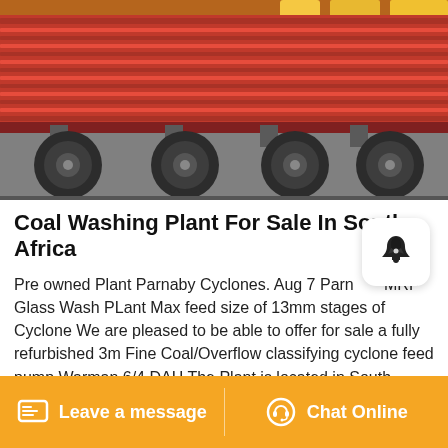[Figure (photo): Photo of a red flatbed/semi truck trailer with large wheels, viewed from the side. Background shows yellow items.]
Coal Washing Plant For Sale In South Africa
Pre owned Plant Parnaby Cyclones. Aug 7 Parnaby MRF Glass Wash PLant Max feed size of 13mm stages of Cyclone We are pleased to be able to offer for sale a fully refurbished 3m Fine Coal/Overflow classifying cyclone feed pump Warman 6/4 DAH The Plant is located in South Africa and is being sold on behalf of one of our clients
Leave a message  Chat Online